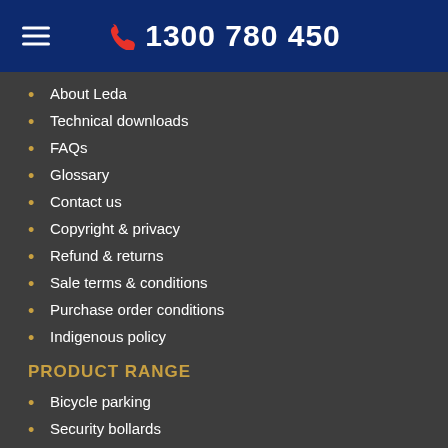1300 780 450
About Leda
Technical downloads
FAQs
Glossary
Contact us
Copyright & privacy
Refund & returns
Sale terms & conditions
Purchase order conditions
Indigenous policy
PRODUCT RANGE
Bicycle parking
Security bollards
Security gates
Turnstiles & barriers
[Figure (logo): Social media icons: LinkedIn, Instagram, Facebook, Twitter, YouTube]
TECHNICAL DOWNLOADS